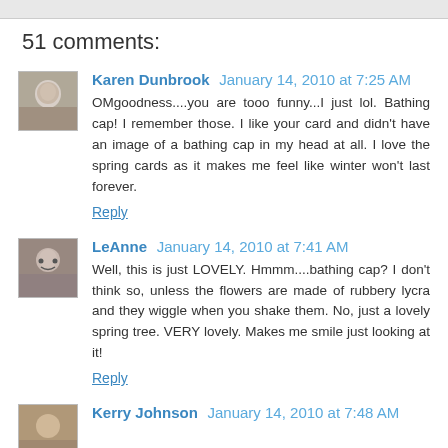51 comments:
Karen Dunbrook January 14, 2010 at 7:25 AM
OMgoodness....you are tooo funny...I just lol. Bathing cap! I remember those. I like your card and didn't have an image of a bathing cap in my head at all. I love the spring cards as it makes me feel like winter won't last forever.
Reply
LeAnne January 14, 2010 at 7:41 AM
Well, this is just LOVELY. Hmmm....bathing cap? I don't think so, unless the flowers are made of rubbery lycra and they wiggle when you shake them. No, just a lovely spring tree. VERY lovely. Makes me smile just looking at it!
Reply
Kerry Johnson January 14, 2010 at 7:48 AM